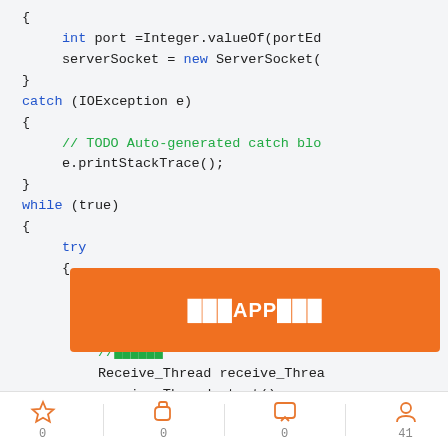[Figure (screenshot): Java code snippet showing catch block and while loop with try block, overlaid with an orange banner button labeled with Chinese text for downloading an APP]
0 | 0 | 0 | 41